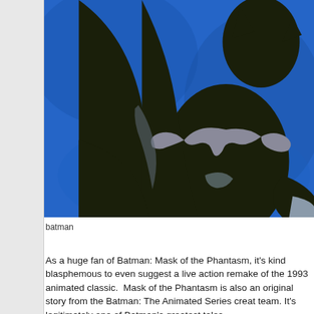[Figure (photo): A dark silhouette of Batman against a blue background, showing the Batman logo/bat symbol on his chest, photographed from a low angle. The image appears to be a still from the 1993 animated film Batman: Mask of the Phantasm.]
batman
As a huge fan of Batman: Mask of the Phantasm, it's kind blasphemous to even suggest a live action remake of the 1993 animated classic.  Mask of the Phantasm is also an original story from the Batman: The Animated Series creat team. It's legitimately one of Batman's greatest tales,